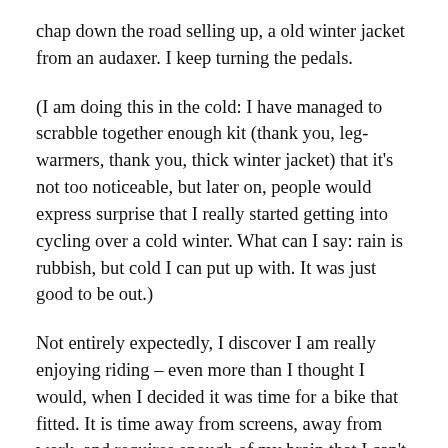chap down the road selling up, a old winter jacket from an audaxer. I keep turning the pedals.
(I am doing this in the cold: I have managed to scrabble together enough kit (thank you, leg-warmers, thank you, thick winter jacket) that it's not too noticeable, but later on, people would express surprise that I really started getting into cycling over a cold winter. What can I say: rain is rubbish, but cold I can put up with. It was just good to be out.)
Not entirely expectedly, I discover I am really enjoying riding – even more than I thought I would, when I decided it was time for a bike that fitted. It is time away from screens, away from work, and requires enough of my brain that I can't daydream. I pedal, I breathe, I look around me. I keep wanting to go further. At this point, I wonder about cycling with other people. Everybody I know who cycles is much fitter, rides much further, but maybe I could chip away at this. I know of a local club that seems friendly; their low-end